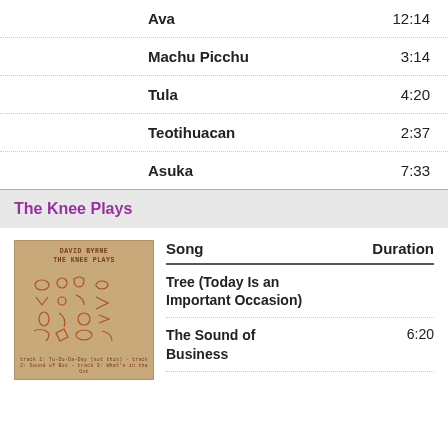| Song | Duration |
| --- | --- |
| Ava | 12:14 |
| Machu Picchu | 3:14 |
| Tula | 4:20 |
| Teotihuacan | 2:37 |
| Asuka | 7:33 |
The Knee Plays
[Figure (illustration): Album cover for David Byrne 'The Knee Plays' — tan/brown background with hand-drawn symbolic figures in reddish-brown ink]
| Song | Duration |
| --- | --- |
| Tree (Today Is an Important Occasion) |  |
| The Sound of Business | 6:20 |